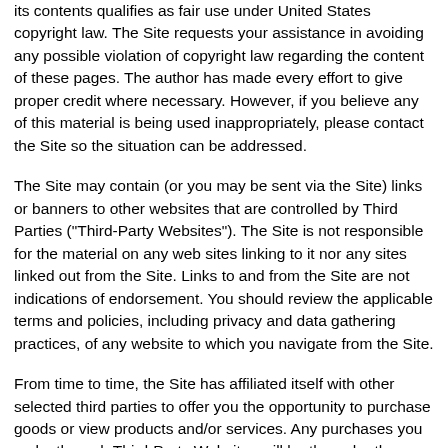its contents qualifies as fair use under United States copyright law. The Site requests your assistance in avoiding any possible violation of copyright law regarding the content of these pages. The author has made every effort to give proper credit where necessary. However, if you believe any of this material is being used inappropriately, please contact the Site so the situation can be addressed.
The Site may contain (or you may be sent via the Site) links or banners to other websites that are controlled by Third Parties ("Third-Party Websites"). The Site is not responsible for the material on any web sites linking to it nor any sites linked out from the Site. Links to and from the Site are not indications of endorsement. You should review the applicable terms and policies, including privacy and data gathering practices, of any website to which you navigate from the Site.
From time to time, the Site has affiliated itself with other selected third parties to offer you the opportunity to purchase goods or view products and/or services. Any purchases you make through Third-Party Websites will be through other websites and from other companies, and we take no responsibility whatsoever in relation to such purchases which are exclusively between you and the applicable third party. Such purchases will be with the named third party (and not with the Site) and will be governed by the terms and...